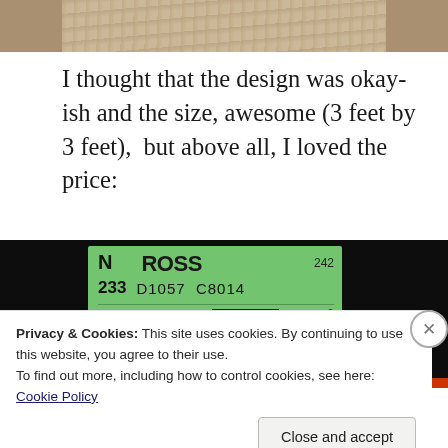[Figure (photo): Top portion of a photo showing a rug or carpet texture, cropped at top]
I thought that the design was okay-ish and the size, awesome (3 feet by 3 feet),  but above all, I loved the price:
[Figure (photo): Photo of a green Ross store price tag showing: N, ROSS, 242, 233, D1057, C8014, COMPARE AT, and barcode elements]
Privacy & Cookies: This site uses cookies. By continuing to use this website, you agree to their use.
To find out more, including how to control cookies, see here: Cookie Policy
Close and accept